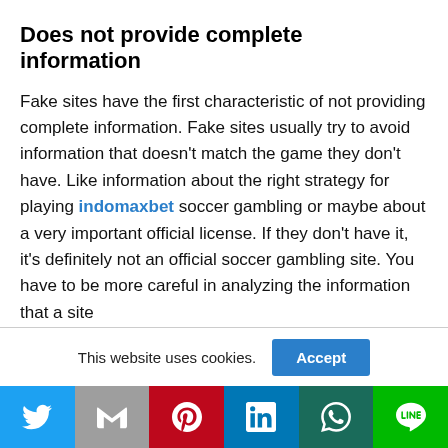Does not provide complete information
Fake sites have the first characteristic of not providing complete information. Fake sites usually try to avoid information that doesn't match the game they don't have. Like information about the right strategy for playing indomaxbet soccer gambling or maybe about a very important official license. If they don't have it, it's definitely not an official soccer gambling site. You have to be more careful in analyzing the information that a site
This website uses cookies. [Accept button] [Social share bar: Twitter, Gmail, Pinterest, LinkedIn, WhatsApp, Line]